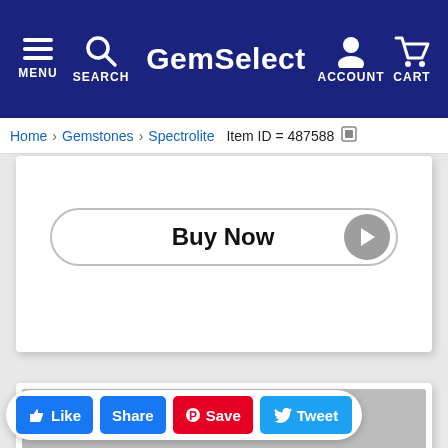GemSelect — MENU SEARCH ACCOUNT CART
Home > Gemstones > Spectrolite   Item ID = 487588
Buy Now
[Figure (photo): Two oval spectrolite gemstone cabochons showing labradorescent blue, green and orange iridescence on a gray background]
Like  Share  Save  Tweet